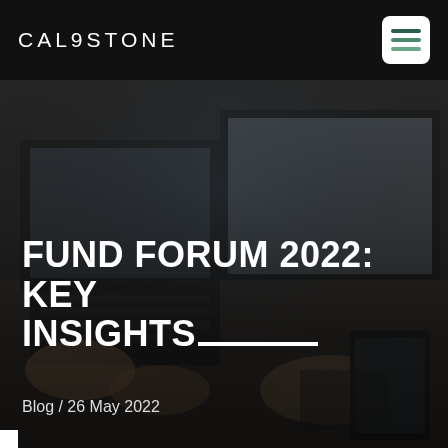CALASTONE
[Figure (photo): Dark background photo of hands typing on laptop keyboard with another laptop visible, dimly lit office setting]
FUND FORUM 2022: KEY INSIGHTS
Blog / 26 May 2022